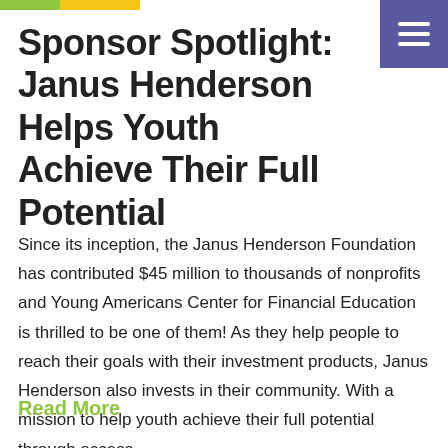Sponsor Spotlight: Janus Henderson Helps Youth Achieve Their Full Potential
Since its inception, the Janus Henderson Foundation has contributed $45 million to thousands of nonprofits and Young Americans Center for Financial Education is thrilled to be one of them! As they help people to reach their goals with their investment products, Janus Henderson also invests in their community. With a mission to help youth achieve their full potential through access ...
Read More